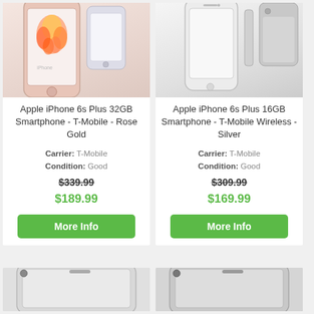[Figure (photo): Apple iPhone 6s Plus Rose Gold smartphone product photo, cropped top]
[Figure (photo): Apple iPhone 6s Plus Silver smartphone product photo, cropped top]
Apple iPhone 6s Plus 32GB Smartphone - T-Mobile - Rose Gold
Apple iPhone 6s Plus 16GB Smartphone - T-Mobile Wireless - Silver
Carrier: T-Mobile
Condition: Good
Carrier: T-Mobile
Condition: Good
$339.99
$309.99
$189.99
$169.99
More Info
More Info
[Figure (photo): Bottom-cropped iPhone product photo, silver/dark, left]
[Figure (photo): Bottom-cropped iPhone product photo, silver/dark, right]